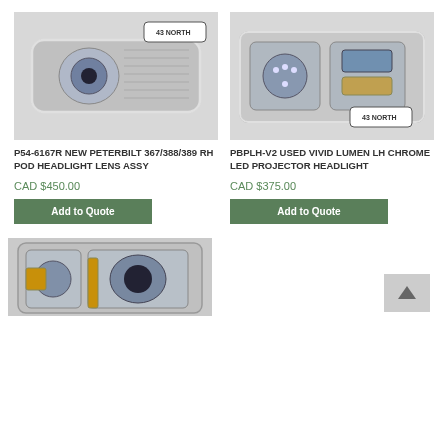[Figure (photo): Product photo of Peterbilt 367/388/389 RH Pod Headlight Lens Assy with 43 NORTH watermark, chrome headlight assembly on white background]
[Figure (photo): Product photo of Vivid Lumen LH Chrome LED Projector Headlight with 43 NORTH watermark, dual-lens chrome headlight on white background]
P54-6167R NEW PETERBILT 367/388/389 RH POD HEADLIGHT LENS ASSY
CAD $450.00
Add to Quote
PBPLH-V2 USED VIVID LUMEN LH CHROME LED PROJECTOR HEADLIGHT
CAD $375.00
Add to Quote
[Figure (photo): Partial product photo of a chrome headlight assembly, partially cut off at bottom of page]